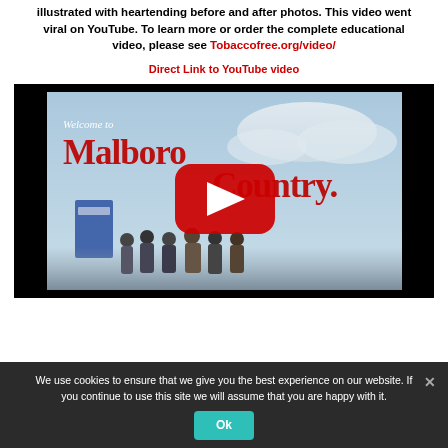illustrated with heartending before and after photos. This video went viral on YouTube. To learn more or order the complete educational video, please see Tobaccofree.org/video/
Direct Link to YouTube video
[Figure (screenshot): YouTube video thumbnail showing 'Welcome to Marlboro Country' text with a YouTube play button overlay and people gathered below, set against a blue sky background. Black border around the thumbnail.]
We use cookies to ensure that we give you the best experience on our website. If you continue to use this site we will assume that you are happy with it.